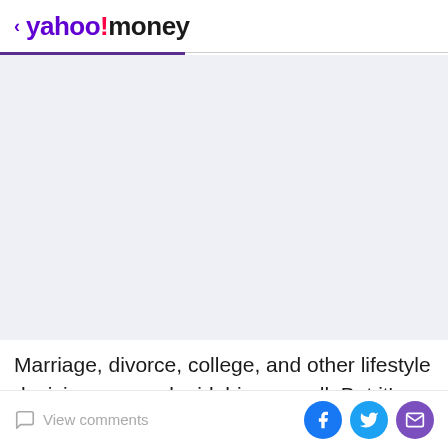< yahoo!/money
[Figure (other): Advertisement or image placeholder area with light gray-blue background]
Marriage, divorce, college, and other lifestyle decisions we make irk him as well. But it's a lack of savings — especially for retirement — that really gets under his
View comments | Facebook share | Twitter share | Email share